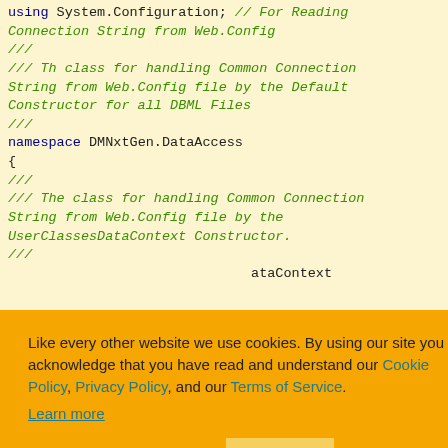using System.Configuration; // For Reading Connection String from Web.Config
///
/// Th class for handling Common Connection String from Web.Config file by the Default Constructor for all DBML Files
///
namespace DMNxtGen.DataAccess
{
///
/// The class for handling Common Connection String from Web.Config file by the UserClassesDataContext Constructor.
/// ...ataContext
/// ...ionStrings["W ring,
}
Like every other website we use cookies. By using our site you acknowledge that you have read and understand our Cookie Policy, Privacy Policy, and our Terms of Service.
Learn more
Ask me later | Decline | Allow cookies